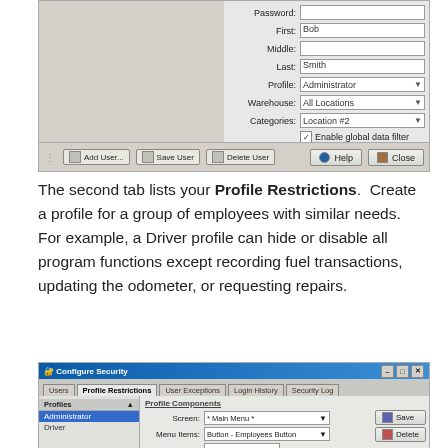[Figure (screenshot): Screenshot of a Configure Security dialog showing user form fields: Password, First (Bob), Middle, Last (Smith), Profile (Administrator dropdown), Warehouse (All Locations dropdown), Categories (Location #2 dropdown), Enable global data filter checkbox. Bottom toolbar has Add User, Save User, Delete User buttons. Help and Close buttons at bottom right.]
The second tab lists your Profile Restrictions.  Create a profile for a group of employees with similar needs.  For example, a Driver profile can hide or disable all program functions except recording fuel transactions, updating the odometer, or requesting repairs.
[Figure (screenshot): Screenshot of Configure Security dialog on Profile Restrictions tab. Left panel shows Profiles list with Administrator (selected, highlighted blue) and Driver. Right panel shows Profile Components section with Screen (*Main Menu*), Menu Items (Button - Employees Button), Access (Hidden) dropdowns, Save and Delete buttons. Current Profile Restrictions section below with Screen, Component, Access Level columns and one row visible (*Main Menu*, Button - Employees Button, Hidden).]